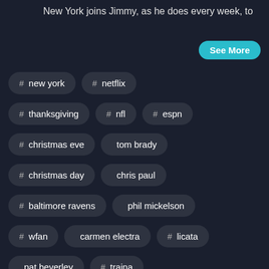New York joins Jimmy, as he does every week, to
See More
# new york
# netflix
# thanksgiving
# nfl
# espn
# christmas eve
person tom brady
# christmas day
person chris paul
# baltimore ravens
person phil mickelson
# wfan
person carmen electra
# licata
person pat beverley
# traina
person jimmy traina